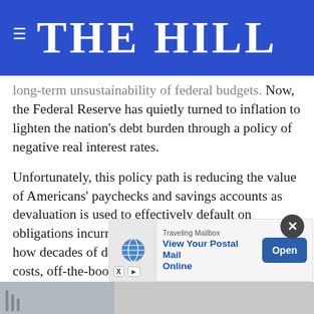THE HILL
long-term unsustainability of federal budgets. Now, the Federal Reserve has quietly turned to inflation to lighten the nation's debt burden through a policy of negative real interest rates.
Unfortunately, this policy path is reducing the value of Americans' paychecks and savings accounts as devaluation is used to effectively default on obligations incurred over decades. While it is clear how decades of deficit spending, rising entitlement costs, off-the-books war spending, and massive stimulus packages got America into this situation, a new data project from Reason Foundation reveals the true depths of this debt crisis.
[Figure (screenshot): Advertisement banner: Traveling Mailbox – View Your Postal Mail Online, with Open button. Close (X) button overlay. Partially visible bottom image strip.]